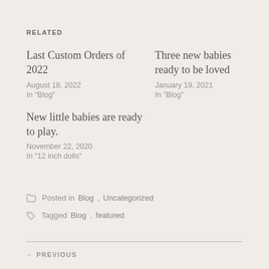RELATED
Last Custom Orders of 2022
August 18, 2022
In "Blog"
Three new babies ready to be loved
January 19, 2021
In "Blog"
New little babies are ready to play.
November 22, 2020
In "12 inch dolls"
Posted in Blog, Uncategorized
Tagged Blog, featured
← PREVIOUS